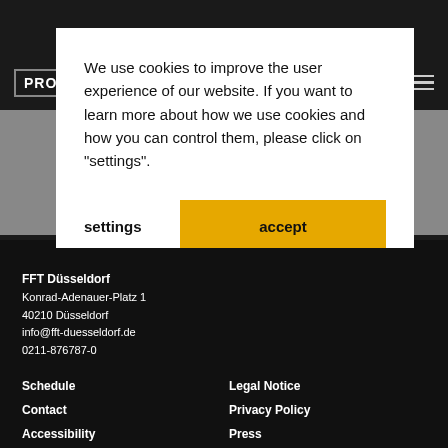We use cookies to improve the user experience of our website. If you want to learn more about how we use cookies and how you can control them, please click on "settings".
settings
accept
FFT Düsseldorf
Konrad-Adenauer-Platz 1
40210 Düsseldorf
info@fft-duesseldorf.de
0211-876787-0
Schedule
Legal Notice
Contact
Privacy Policy
Accessibility
Press
DE | EN
Technical data